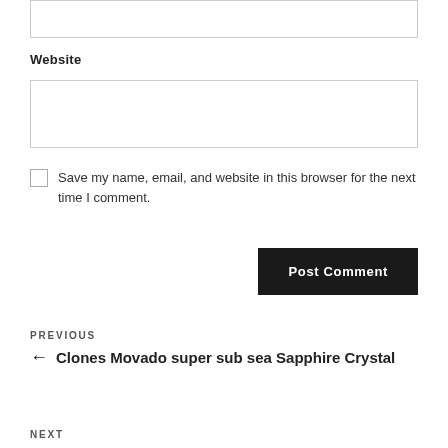Website
Save my name, email, and website in this browser for the next time I comment.
Post Comment
PREVIOUS
← Clones Movado super sub sea Sapphire Crystal
NEXT